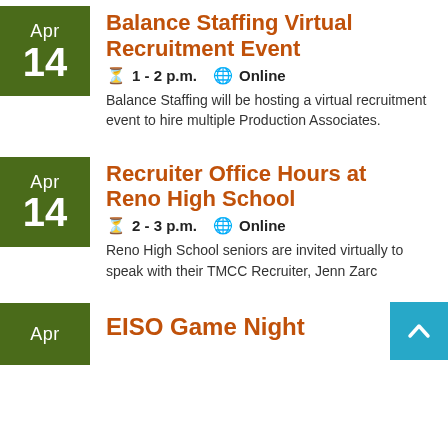Balance Staffing Virtual Recruitment Event
1 - 2 p.m.  Online
Balance Staffing will be hosting a virtual recruitment event to hire multiple Production Associates.
Recruiter Office Hours at Reno High School
2 - 3 p.m.  Online
Reno High School seniors are invited virtually to speak with their TMCC Recruiter, Jenn Zarco
EISO Game Night